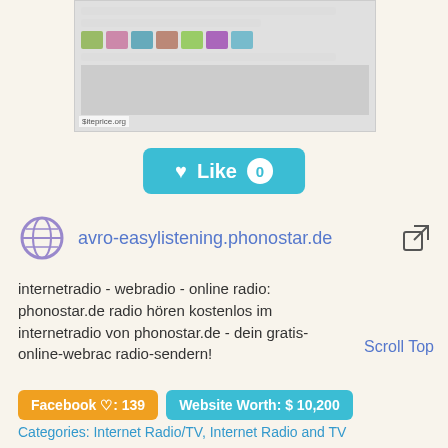[Figure (screenshot): Screenshot of avro-easylistening.phonostar.de website showing radio content]
♥ Like 0
avro-easylistening.phonostar.de
internetradio - webradio - online radio: phonostar.de radio hören kostenlos im internetradio von phonostar.de - dein gratis-online-webradio radio-sendern!
Scroll Top
Facebook ♡: 139
Website Worth: $ 10,200
Categories: Internet Radio/TV, Internet Radio and TV
Is it similar?
👍 Yes 0
👎 No 0